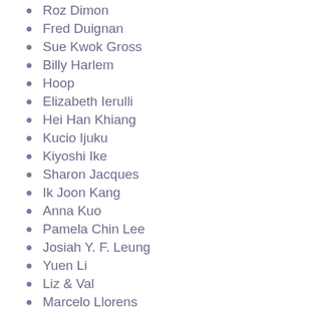Roz Dimon
Fred Duignan
Sue Kwok Gross
Billy Harlem
Hoop
Elizabeth Ierulli
Hei Han Khiang
Kucio Ijuku
Kiyoshi Ike
Sharon Jacques
Ik Joon Kang
Anna Kuo
Pamela Chin Lee
Josiah Y. F. Leung
Yuen Li
Liz & Val
Marcelo Llorens